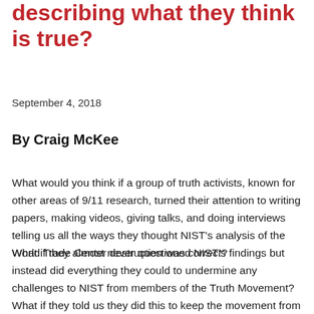describing what they think is true?
September 4, 2018
By Craig McKee
What would you think if a group of truth activists, known for other areas of 9/11 research, turned their attention to writing papers, making videos, giving talks, and doing interviews telling us all the ways they thought NIST’s analysis of the World Trade Center destruction was correct?
What if they almost never questioned NIST’s findings but instead did everything they could to undermine any challenges to NIST from members of the Truth Movement? What if they told us they did this to keep the movement from losing